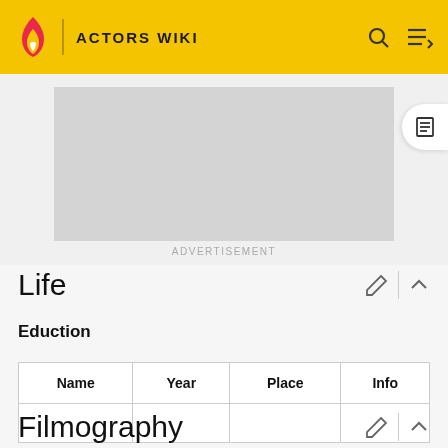ACTORS WIKI
[Figure (other): Advertisement placeholder banner (grey rectangle)]
ADVERTISEMENT
Life
Eduction
| Name | Year | Place | Info |
| --- | --- | --- | --- |
|   |   |   |   |
Filmography